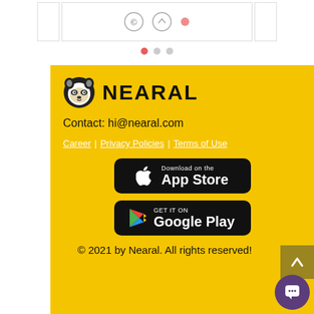[Figure (screenshot): Top strip showing partial card UI with border]
[Figure (other): Pagination dots: active red dot followed by two grey dots]
[Figure (logo): Nearal raccoon logo with brand name NEARAL in bold black text on yellow background]
Contact: hi@nearal.com
Career | Privacy Policies | Terms of Use
[Figure (other): Download on the App Store button (black rounded rectangle)]
[Figure (other): GET IT ON Google Play button (black rounded rectangle)]
© 2021 by Nearal. All rights reserved!
[Figure (other): Back to top arrow button (dark yellow square)]
[Figure (other): Chat bubble button (purple circle with chat icon)]